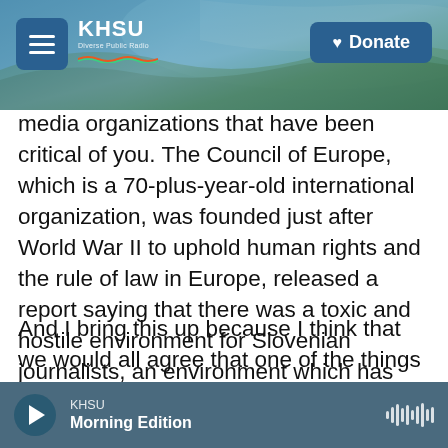KHSU — Diverse Public Radio — Donate
media organizations that have been critical of you. The Council of Europe, which is a 70-plus-year-old international organization, was founded just after World War II to uphold human rights and the rule of law in Europe, released a report saying that there was a toxic and hostile environment for Slovenian journalists, an environment which has encouraged people to threaten and harass journalists.
And I bring this up because I think that we would all agree that one of the things that we have seen in this conflict is how Putin's control of the media in Russia has allowed this conflict to go on. Now, I
KHSU — Morning Edition